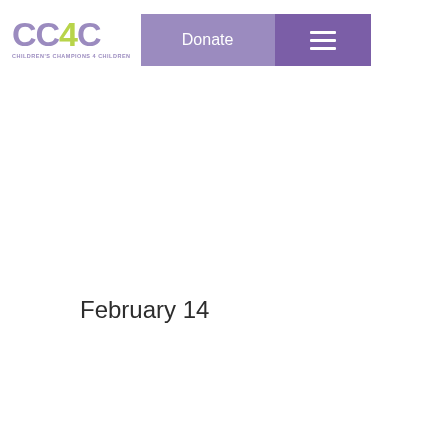[Figure (logo): CC4C logo — Children's Champions 4 Children — with CC4C text where 4 is in yellow-green and CC is in purple, with organization subtitle below]
Donate | ☰
February 14